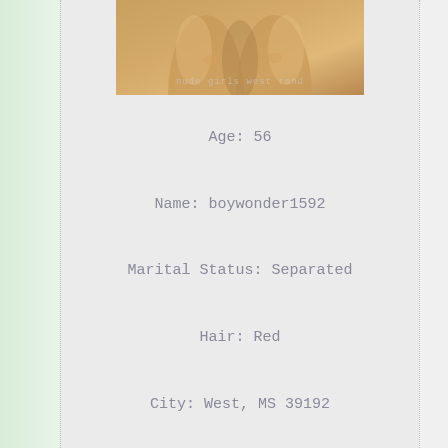[Figure (photo): Partial photo of a person's legs and lower body, with a watermark text 'nude girls west rand' at the bottom]
Age: 56
Name: boywonder1592
Marital Status: Separated
Hair: Red
City: West, MS 39192